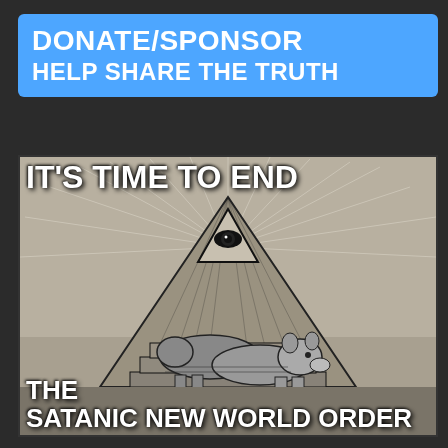DONATE/SPONSOR
HELP SHARE THE TRUTH
[Figure (illustration): Black and white etching-style illustration showing the all-seeing eye pyramid (Eye of Providence) at top center with radiating light beams, and two animals (appearing to be a bear or large dog mounting another dog/bear figure) at the base of the pyramid. Text overlaid reads 'IT'S TIME TO END' at the top and 'THE SATANIC NEW WORLD ORDER' at the bottom.]